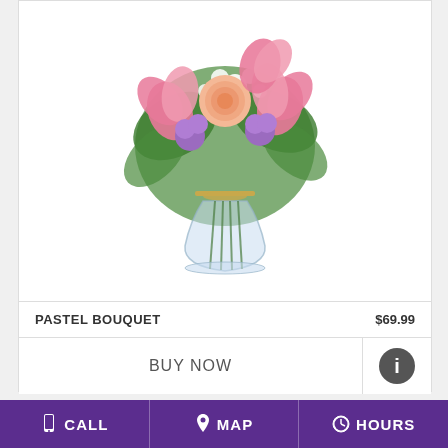[Figure (photo): Pastel flower bouquet in a glass vase with pink lilies, peach roses, purple flowers, and white filler flowers tied with raffia]
PASTEL BOUQUET   $69.99
BUY NOW
[Figure (photo): Colorful alstroemeria flower arrangement with pink, orange, and yellow blooms]
CALL   MAP   HOURS